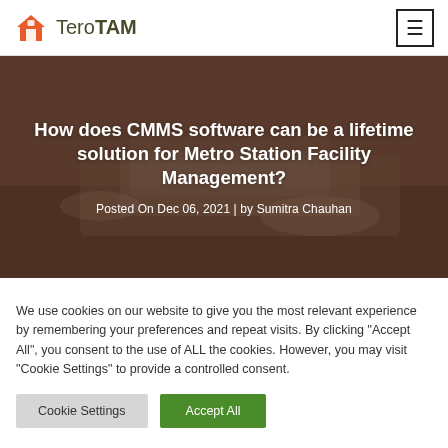TeroTAM
[Figure (photo): Hero image showing hands working on a laptop, dark-toned background with overlay. Title text: 'How does CMMS software can be a lifetime solution for Metro Station Facility Management?' and byline 'Posted On Dec 06, 2021 | by Sumitra Chauhan']
How does CMMS software can be a lifetime solution for Metro Station Facility Management?
Posted On Dec 06, 2021 | by Sumitra Chauhan
We use cookies on our website to give you the most relevant experience by remembering your preferences and repeat visits. By clicking "Accept All", you consent to the use of ALL the cookies. However, you may visit "Cookie Settings" to provide a controlled consent.